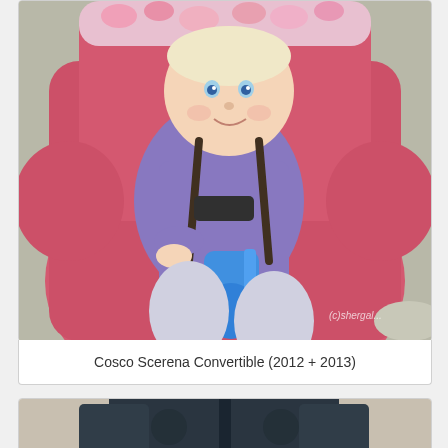[Figure (photo): A baby/toddler sitting in a pink Cosco Scerena Convertible car seat, wearing a purple outfit, holding a blue toy. The car seat is pink with floral accents at the top. Photo has a watermark in the bottom right corner.]
Cosco Scerena Convertible (2012 + 2013)
[Figure (photo): Partial view of a dark-colored car seat, showing the back/side panel.]